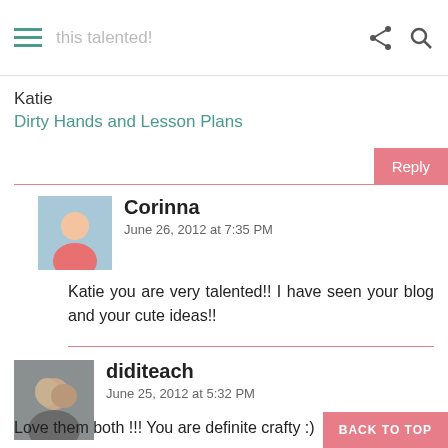this talented!
Katie
Dirty Hands and Lesson Plans
Reply
Corinna
June 26, 2012 at 7:35 PM
Katie you are very talented!! I have seen your blog and your cute ideas!!
diditeach
June 25, 2012 at 5:32 PM
Love them both !!! You are definite crafty :)
BACK TO TOP